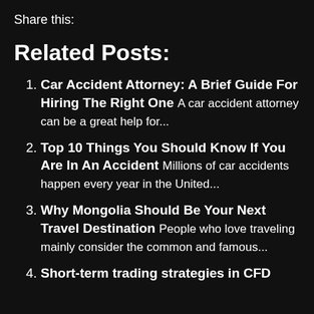Share this:
Related Posts:
Car Accident Attorney: A Brief Guide For Hiring The Right One A car accident attorney can be a great help for...
Top 10 Things You Should Know If You Are In An Accident Millions of car accidents happen every year in the United...
Why Mongolia Should Be Your Next Travel Destination People who love traveling mainly consider the common and famous...
Short-term trading strategies in CFD